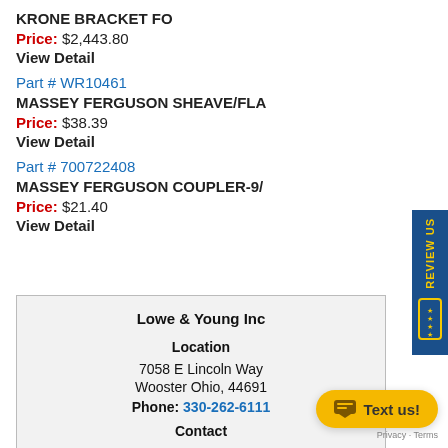KRONE BRACKET FO
Price: $2,443.80
View Detail
Part # WR10461
MASSEY FERGUSON SHEAVE/FLA
Price: $38.39
View Detail
Part # 700722408
MASSEY FERGUSON COUPLER-9/
Price: $21.40
View Detail
| Lowe & Young Inc |
| Location |
| 7058 E Lincoln Way |
| Wooster Ohio, 44691 |
| Phone: 330-262-6111 |
| Contact |